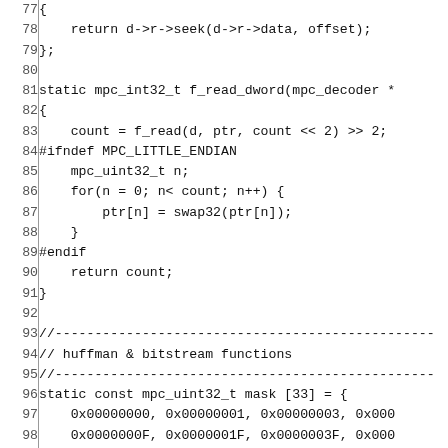Source code listing, lines 77–106, showing C code for mpc decoder seek and f_read_dword functions, and mask array initialization.